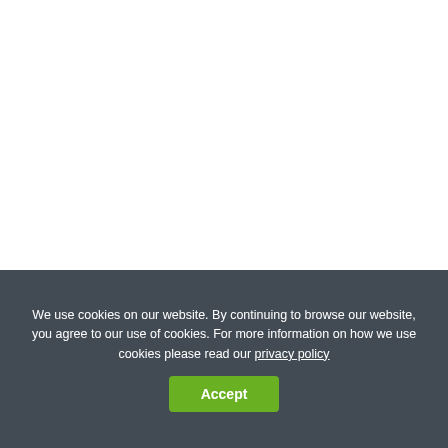[Figure (photo): White/blank image area representing the top portion of an architectural visualization page for Casa Narigua]
Casa Narigua
3DUS Team
Casa Narigua is a custom residence project. Architect: David Pedroza Castaneda. 3D Visualization by 3DUS. https://3dus.us/portfolio/
We use cookies on our website. By continuing to browse our website, you agree to our use of cookies. For more information on how we use cookies please read our privacy policy
Accept